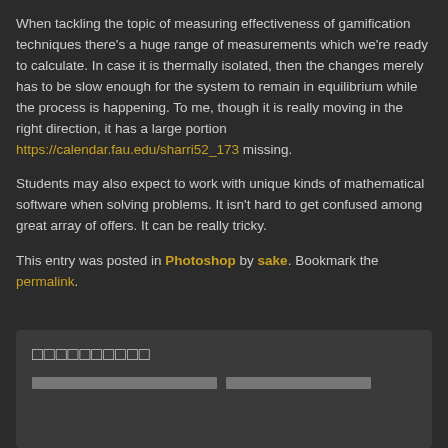When tackling the topic of measuring effectiveness of gamification techniques there's a huge range of measurements which we're ready to calculate. In case it is thermally isolated, then the changes merely has to be slow enough for the system to remain in equilibrium while the process is happening. To me, though it is really moving in the right direction, it has a large portion https://calendar.fau.edu/sharri52_173 missing.
Students may also expect to work with unique kinds of mathematical software when solving problems. It isn't hard to get confused among great array of offers. It can be really tricky.
This entry was posted in Photoshop by sake. Bookmark the permalink.
[placeholder characters - comment section header]
[placeholder characters - comment section subtext]